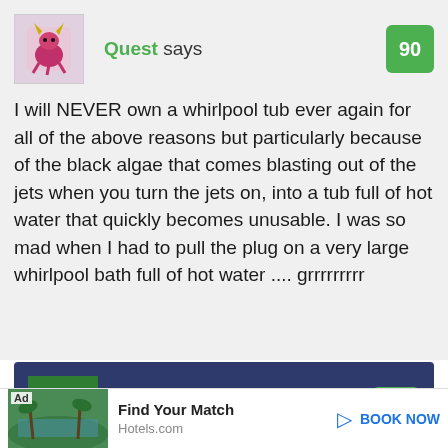[Figure (illustration): Avatar icon for user Quest — stylized pink/magenta creature with horns]
Quest says
90
I will NEVER own a whirlpool tub ever again for all of the above reasons but particularly because of the black algae that comes blasting out of the jets when you turn the jets on, into a tub full of hot water that quickly becomes unusable. I was so mad when I had to pull the plug on a very large whirlpool bath full of hot water .... grrrrrrrrr
[Figure (logo): Green square with white italic letter L — Len Penzo avatar]
Len Penzo says
91
[Figure (photo): Hotels.com advertisement showing a tropical resort pool surrounded by palm trees]
Find Your Match
Hotels.com
BOOK NOW